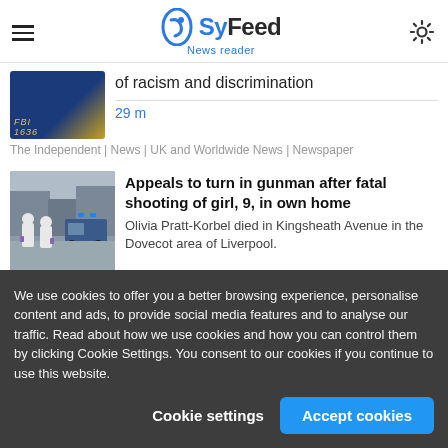SyFeed News reader
of racism and discrimination
29 m
The Independent | News | UK and Worldwide News | Newspaper
Appeals to turn in gunman after fatal shooting of girl, 9, in own home
Olivia Pratt-Korbel died in Kingsheath Avenue in the Dovecot area of Liverpool.
We use cookies to offer you a better browsing experience, personalise content and ads, to provide social media features and to analyse our traffic. Read about how we use cookies and how you can control them by clicking Cookie Settings. You consent to our cookies if you continue to use this website.
Cookie settings
Accept cookies